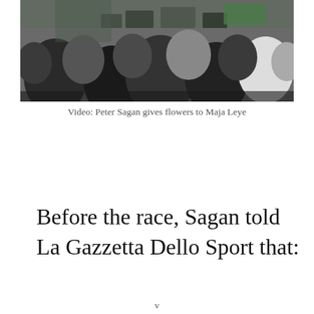[Figure (photo): Crowd of people at a cycling race event, with cameras and microphones visible, taken from a low angle looking up at the crowd]
Video: Peter Sagan gives flowers to Maja Leye
Before the race, Sagan told La Gazzetta Dello Sport that: